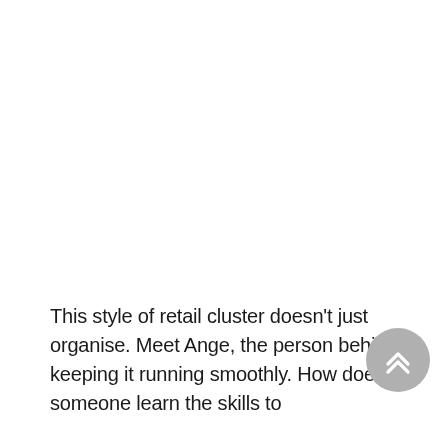This style of retail cluster doesn't just organise. Meet Ange, the person behind keeping it running smoothly. How does someone learn the skills to